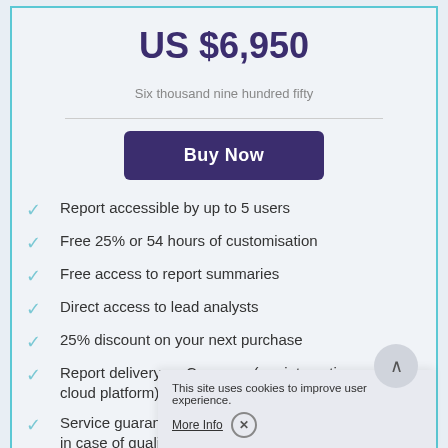US $6,950
Six thousand nine hundred fifty
Buy Now
Report accessible by up to 5 users
Free 25% or 54 hours of customisation
Free access to report summaries
Direct access to lead analysts
25% discount on your next purchase
Report delivery on Compass (our interactive cloud platform)
Service guarantee av... in case of quality con...
Dedicated account manager
This site uses cookies to improve user experience.
More Info